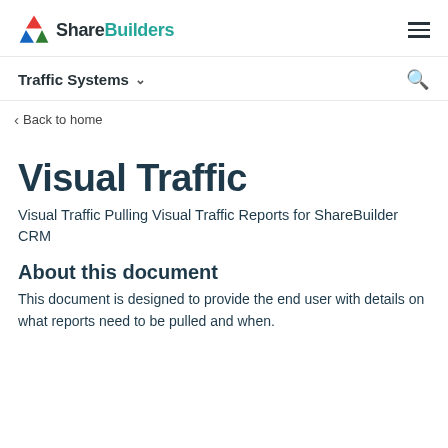ShareBuilders | Traffic Systems
Back to home
Visual Traffic
Visual Traffic Pulling Visual Traffic Reports for ShareBuilder CRM
About this document
This document is designed to provide the end user with details on what reports need to be pulled and when.